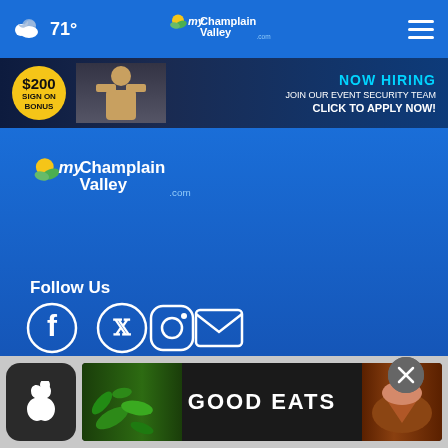71° myChamplainValley.com
[Figure (screenshot): Advertisement banner: NOW HIRING - JOIN OUR EVENT SECURITY TEAM - CLICK TO APPLY NOW! with $200 sign on bonus badge]
[Figure (logo): myChamplainValley.com logo in blue background area]
Follow Us
[Figure (infographic): Social media icons: Facebook, Twitter, Instagram, Email]
News App
[Figure (screenshot): Bottom advertisement banner: Apple app store icon with GOOD EATS advertisement showing vegetables and food]
[Figure (other): Close (X) button overlay]